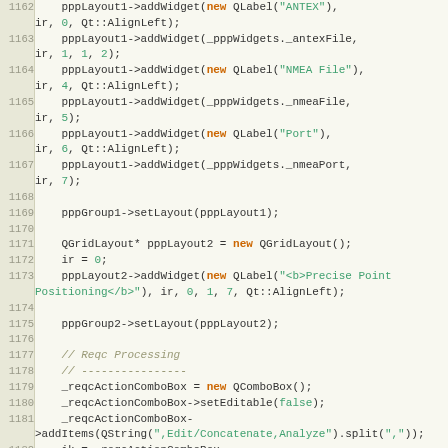[Figure (screenshot): Source code listing in a dark-background code editor showing C++ code lines 1162-1183, with syntax highlighting. Line numbers appear in a beige/tan gutter on the left.]